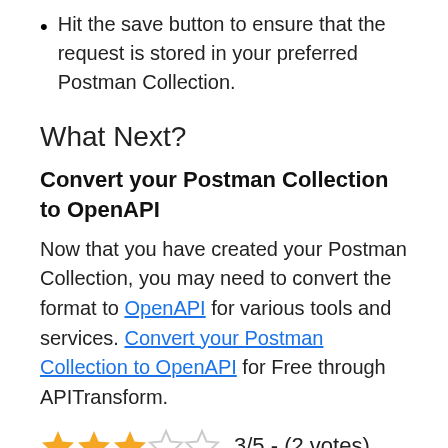Hit the save button to ensure that the request is stored in your preferred Postman Collection.
What Next?
Convert your Postman Collection to OpenAPI
Now that you have created your Postman Collection, you may need to convert the format to OpenAPI for various tools and services. Convert your Postman Collection to OpenAPI for Free through APITransform.
3/5 - (2 votes)